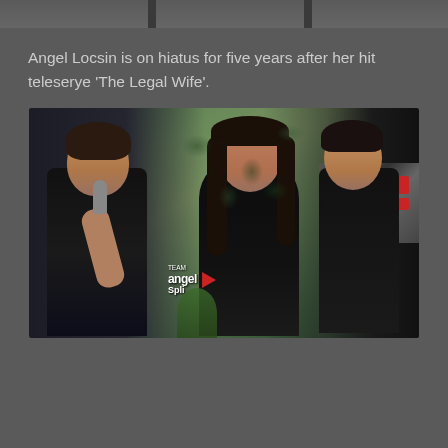[Figure (photo): Top strip showing partial images from previous content]
Angel Locsin is on hiatus for five years after her hit teleserye 'The Legal Wife'.
[Figure (photo): Photo of three people standing together at an event. A man on the left holds a microphone, a woman in the center wearing a black off-shoulder dress, and a man on the right. A camera is visible in the foreground on the right. There is a camouflage-patterned wall in the background and a 'Team Angel' watermark with a play button.]